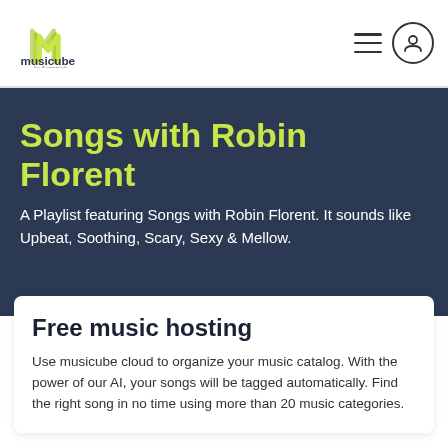[Figure (logo): Musicube by Songtradr logo — stylized green/yellow M letterform with 'musicube' in dark navy and 'by Songtradr' in small grey text below]
Songs with Robin Florent
A Playlist featuring Songs with Robin Florent. It sounds like Upbeat, Soothing, Scary, Sexy & Mellow.
Free music hosting
Use musicube cloud to organize your music catalog. With the power of our AI, your songs will be tagged automatically. Find the right song in no time using more than 20 music categories.